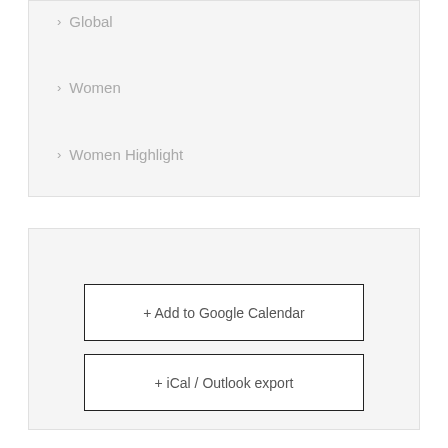Global
Women
Women Highlight
+ Add to Google Calendar
+ iCal / Outlook export